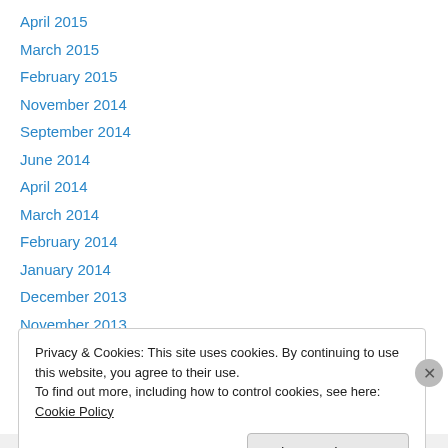April 2015
March 2015
February 2015
November 2014
September 2014
June 2014
April 2014
March 2014
February 2014
January 2014
December 2013
November 2013
September 2013
Privacy & Cookies: This site uses cookies. By continuing to use this website, you agree to their use. To find out more, including how to control cookies, see here: Cookie Policy
Close and accept